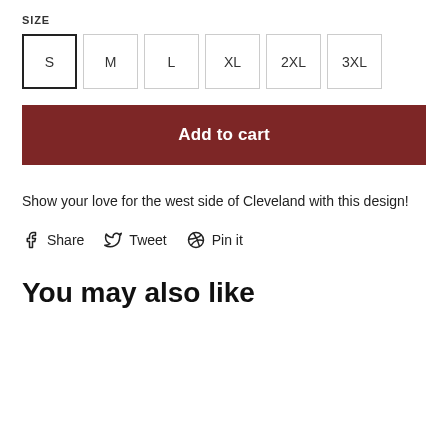SIZE
S (selected), M, L, XL, 2XL, 3XL
Add to cart
Show your love for the west side of Cleveland with this design!
Share  Tweet  Pin it
You may also like